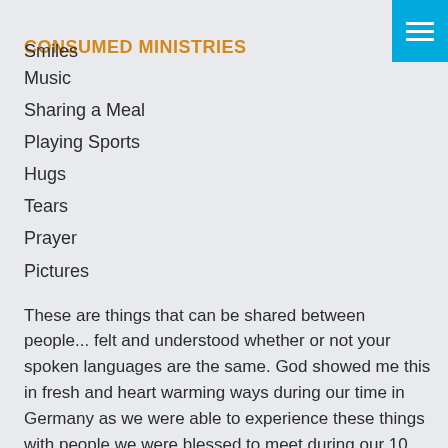CONSUMED MINISTRIES
Smiles
Music
Sharing a Meal
Playing Sports
Hugs
Tears
Prayer
Pictures
These are things that can be shared between people... felt and understood whether or not your spoken languages are the same. God showed me this in fresh and heart warming ways during our time in Germany as we were able to experience these things with people we were blessed to meet during our 10 day stay.
I started out the trip, honestly, with these hesitations and doubts about how effective we could be in ministering to people in Germany when none of us speak German! (Well...